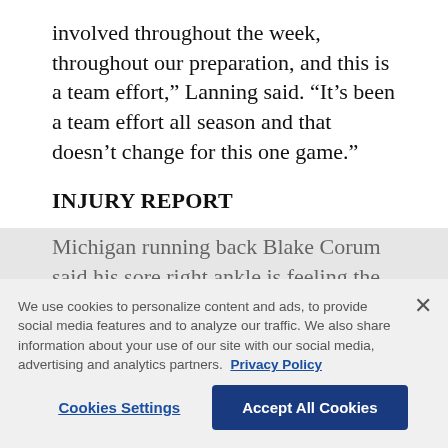involved throughout the week, throughout our preparation, and this is a team effort,” Lanning said. “It’s been a team effort all season and that doesn’t change for this one game.”
INJURY REPORT
Michigan running back Blake Corum said his sore right ankle is feeling the best it has in more than a month.
“I feel like my ankle is finally back,” Corum said
We use cookies to personalize content and ads, to provide social media features and to analyze our traffic. We also share information about your use of our site with our social media, advertising and analytics partners. Privacy Policy